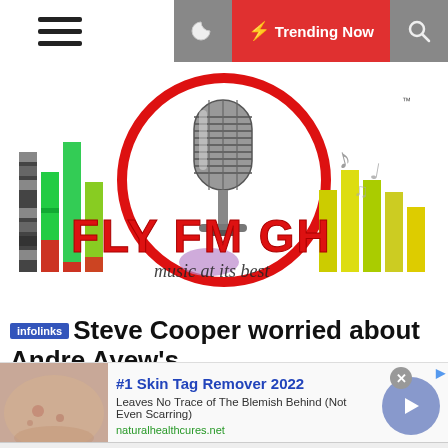☰  ☽  ⚡ Trending Now  🔍
[Figure (logo): Fly FM GH logo with vintage microphone in red circle, colorful equalizer bars, musical notes, and text 'FLY FM GH music at its best']
Steve Cooper worried about Andre Ayew's
[Figure (infographic): Advertisement banner: #1 Skin Tag Remover 2022 - Leaves No Trace of The Blemish Behind (Not Even Scarring) - naturalhealthcures.net - with skin image thumbnail and blue arrow button]